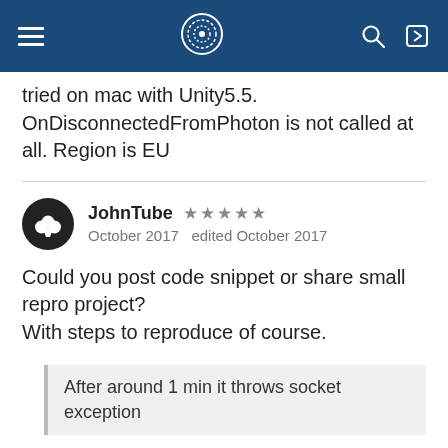[navigation bar with hamburger menu, logo, search and login icons]
tried on mac with Unity5.5.
OnDisconnectedFromPhoton is not called at all. Region is EU
JohnTube ★★★★★
October 2017   edited October 2017
Could you post code snippet or share small repro project?
With steps to reproduce of course.
After around 1 min it throws socket exception
Are you sure it's one minute?